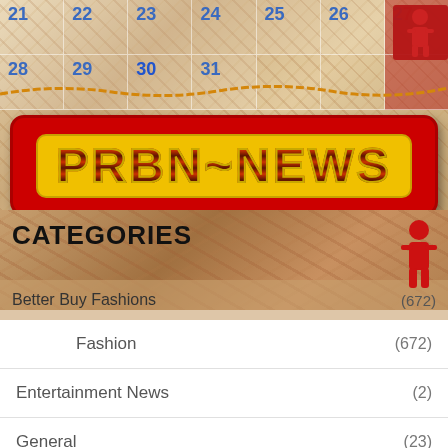[Figure (screenshot): Calendar mosaic background with date numbers 21-27 and 28-31 visible, decorative rope/chain element, and red figure icons]
[Figure (logo): PRBN~NEWS logo on red banner with yellow outlined letters]
CATEGORIES
Better Buy Fashions (672)
Fashion (672)
Entertainment News (2)
General (23)
Uncategorized (143)